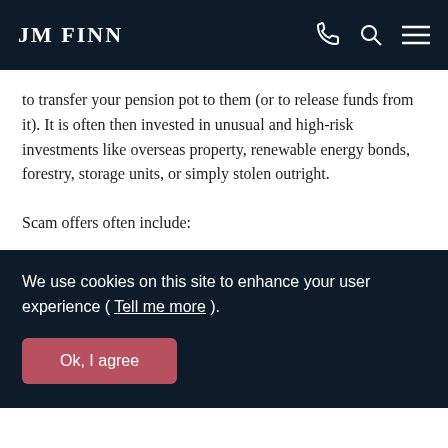JM FINN
to transfer your pension pot to them (or to release funds from it). It is often then invested in unusual and high-risk investments like overseas property, renewable energy bonds, forestry, storage units, or simply stolen outright.
Scam offers often include:
We use cookies on this site to enhance your user experience ( Tell me more ).
Ok, I agree